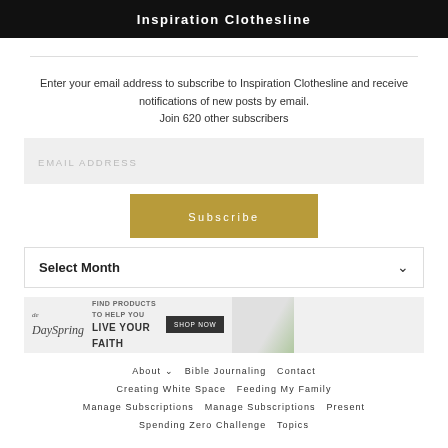Inspiration Clothesline
Enter your email address to subscribe to Inspiration Clothesline and receive notifications of new posts by email.
Join 620 other subscribers
[Figure (screenshot): Email address input field with placeholder text EMAIL ADDRESS]
[Figure (screenshot): Subscribe button in gold/tan color]
[Figure (screenshot): Select Month dropdown with chevron arrow]
[Figure (screenshot): DaySpring advertisement banner: Find products to help you Live Your Faith, Shop Now button, person reading on couch]
About   Bible Journaling   Contact   Creating White Space   Feeding My Family   Manage Subscriptions   Manage Subscriptions   Present   Spending Zero Challenge   Topics